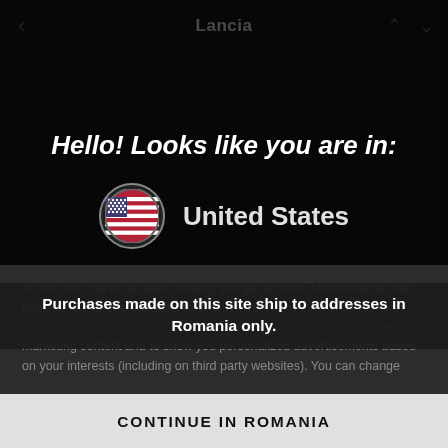Lancia
Hello! Looks like you are in:
United States
Purchases made on this site ship to addresses in Romania only.
At TomTom, we're all about helping you get around. That's why we use cookies to improve our sites, to improve your browsing experience, to offer social media functionalities, to streamline and personalize our marketing content and to show you personalized advertisements based on your interests (including on third party websites). You can change
CONTINUE IN ROMANIA
SHOP IN: UNITED STATES
Maps and LIVE Services provided TomTom.